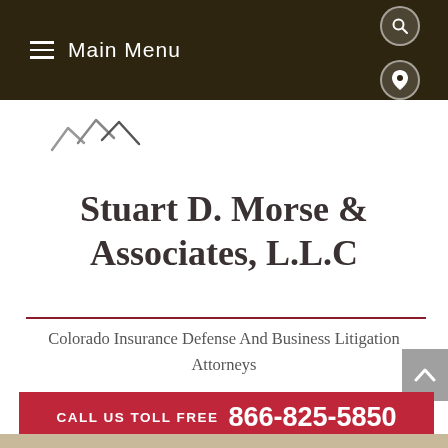≡ Main Menu
[Figure (logo): Stylized mountain/wave lines logo mark for Stuart D. Morse & Associates]
Stuart D. Morse & Associates, L.L.C
Colorado Insurance Defense And Business Litigation Attorneys
CALL US TOLL FREE 866-825-5850